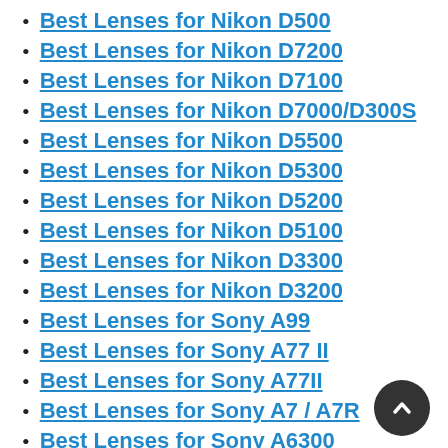Best Lenses for Nikon D500
Best Lenses for Nikon D7200
Best Lenses for Nikon D7100
Best Lenses for Nikon D7000/D300S
Best Lenses for Nikon D5500
Best Lenses for Nikon D5300
Best Lenses for Nikon D5200
Best Lenses for Nikon D5100
Best Lenses for Nikon D3300
Best Lenses for Nikon D3200
Best Lenses for Sony A99
Best Lenses for Sony A77 II
Best Lenses for Sony A77II
Best Lenses for Sony A7 / A7R
Best Lenses for Sony A6300